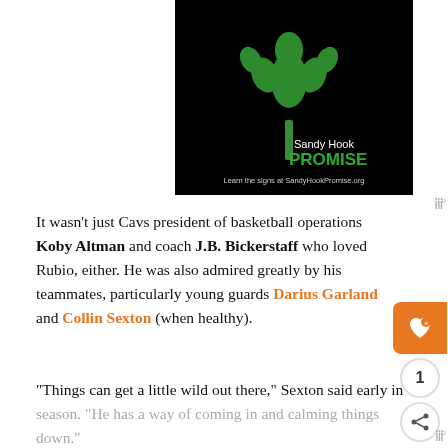[Figure (illustration): Sandy Hook Promise advertisement with black background, green tree logo made of hand prints, text 'Sandy Hook PROMISE' and 'Learn the signs at SandyHookPromise.org']
It wasn't just Cavs president of basketball operations Koby Altman and coach J.B. Bickerstaff who loved Rubio, either. He was also admired greatly by his teammates, particularly young guards Darius Garland and Collin Sexton (when healthy).
“Things can get a little wild out there,” Sexton said early in season. “He has a way of coming in and calming things down.”